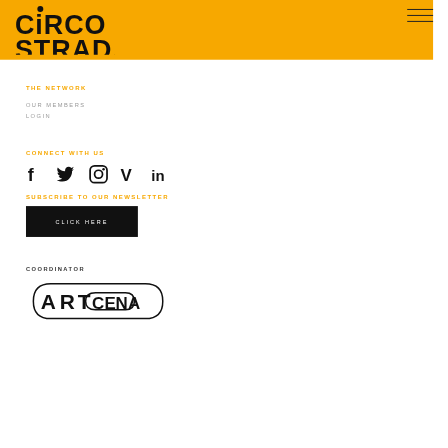[Figure (logo): Circo Strada logo in black text on orange background with a dot above C]
[Figure (illustration): Hamburger menu icon with three horizontal lines]
THE NETWORK
OUR MEMBERS
LOGIN
CONNECT WITH US
[Figure (illustration): Social media icons: Facebook, Twitter, Instagram, Vimeo, LinkedIn]
SUBSCRIBE TO OUR NEWSLETTER
[Figure (illustration): Black button with text CLICK HERE]
COORDINATOR
[Figure (logo): Artcena logo in black outline style]